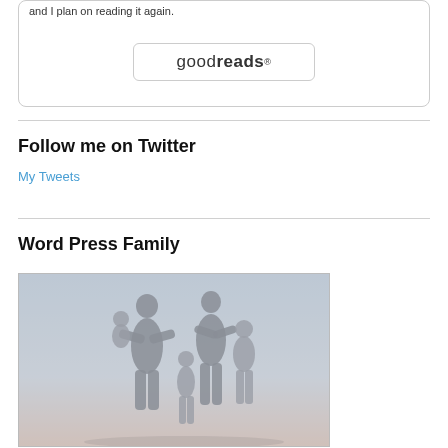and I plan on reading it again.
[Figure (logo): Goodreads logo button with rounded rectangle border]
Follow me on Twitter
My Tweets
Word Press Family
[Figure (photo): Silhouette of a family (two adults and two children) against a light grey-blue background]